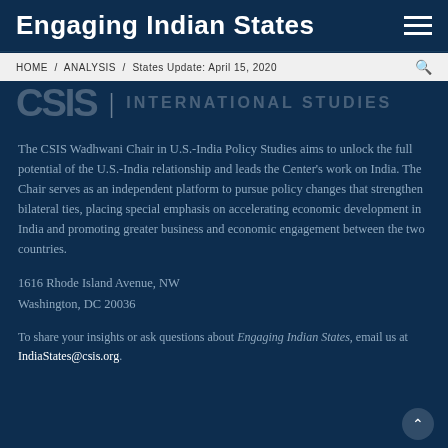Engaging Indian States
HOME / ANALYSIS / States Update: April 15, 2020
[Figure (logo): CSIS | INTERNATIONAL STUDIES logo in faded overlay]
The CSIS Wadhwani Chair in U.S.-India Policy Studies aims to unlock the full potential of the U.S.-India relationship and leads the Center's work on India. The Chair serves as an independent platform to pursue policy changes that strengthen bilateral ties, placing special emphasis on accelerating economic development in India and promoting greater business and economic engagement between the two countries.
1616 Rhode Island Avenue, NW
Washington, DC 20036
To share your insights or ask questions about Engaging Indian States, email us at IndiaStates@csis.org.